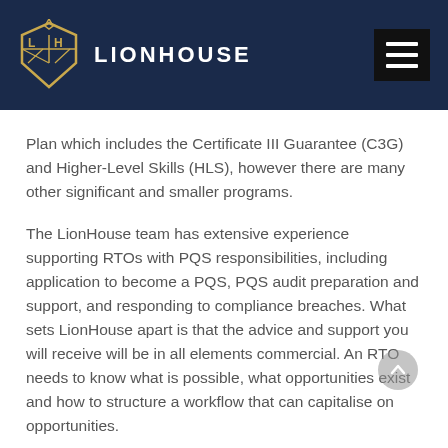LIONHOUSE
Plan which includes the Certificate III Guarantee (C3G) and Higher-Level Skills (HLS), however there are many other significant and smaller programs.
The LionHouse team has extensive experience supporting RTOs with PQS responsibilities, including application to become a PQS, PQS audit preparation and support, and responding to compliance breaches. What sets LionHouse apart is that the advice and support you will receive will be in all elements commercial. An RTO needs to know what is possible, what opportunities exist and how to structure a workflow that can capitalise on opportunities.